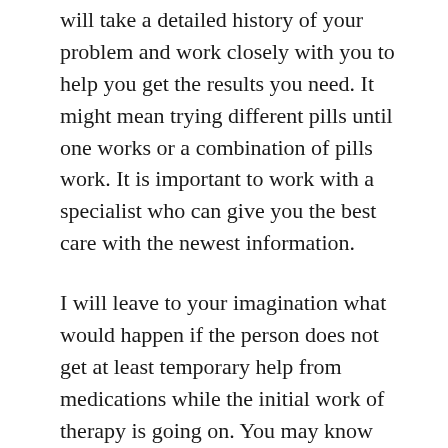will take a detailed history of your problem and work closely with you to help you get the results you need. It might mean trying different pills until one works or a combination of pills work. It is important to work with a specialist who can give you the best care with the newest information.
I will leave to your imagination what would happen if the person does not get at least temporary help from medications while the initial work of therapy is going on. You may know people like this and see how they suffer and cause the people around them to suffer, too. If you know anyone who is needlessly suffering from a mental illness that could be